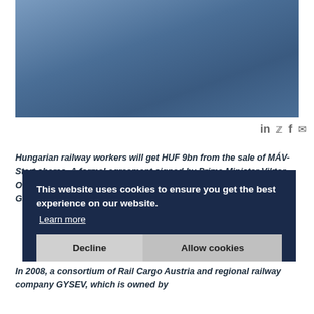[Figure (photo): Blue-grey sky photograph, gradient from lighter blue-grey at top to darker blue at bottom]
in 🐦 f ✉
Hungarian railway workers will get HUF 9bn from the sale of MÁV-Start shares. A formal agreement signed by Prime Minister Viktor Orbán and head of the Liga association of trade unions Istvan Gasko on Wednesday.
In 2008, a consortium of Rail Cargo Austria and regional railway company GYSEV, which is owned by
This website uses cookies to ensure you get the best experience on our website.
Learn more
Decline
Allow cookies